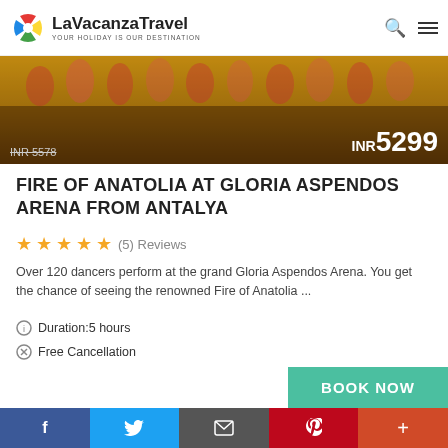LaVacanzaTravel — YOUR HOLIDAY IS OUR DESTINATION
[Figure (photo): Hero image showing performers/dancers in golden costumes at Gloria Aspendos Arena, with price overlay showing INR 5578 (crossed out) and INR 5299]
FIRE OF ANATOLIA AT GLORIA ASPENDOS ARENA FROM ANTALYA
★★★★★ (5) Reviews
Over 120 dancers perform at the grand Gloria Aspendos Arena. You get the chance of seeing the renowned Fire of Anatolia ...
Duration: 5 hours
Free Cancellation
BOOK NOW
f  Twitter  Email  Pinterest  +